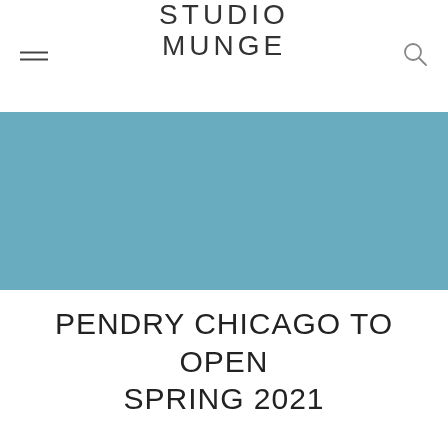STUDIO MUNGE
[Figure (photo): Teal/blue-grey hero image banner, solid color photograph placeholder]
PENDRY CHICAGO TO OPEN SPRING 2021